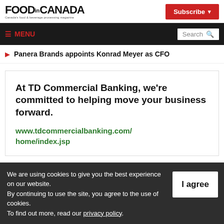FOOD.IN.CANADA — Canada's food & beverage processing magazine
Subscribe
≡ MENU | Search
Panera Brands appoints Konrad Meyer as CFO
[Figure (other): TD Commercial Banking advertisement: At TD Commercial Banking, we're committed to helping move your business forward. www.tdcommercialbanking.com/home/index.jsp]
We are using cookies to give you the best experience on our website. By continuing to use the site, you agree to the use of cookies. To find out more, read our privacy policy.